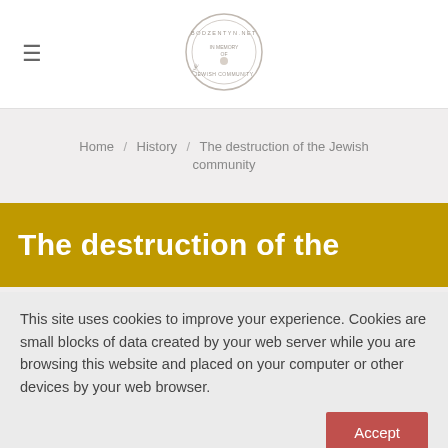[Figure (logo): Bodzentyn.net circular logo reading 'IN MEMORY OF THE JEWISH COMMUNITY']
Home / History / The destruction of the Jewish community
The destruction of the
This site uses cookies to improve your experience. Cookies are small blocks of data created by your web server while you are browsing this website and placed on your computer or other devices by your web browser.
Accept